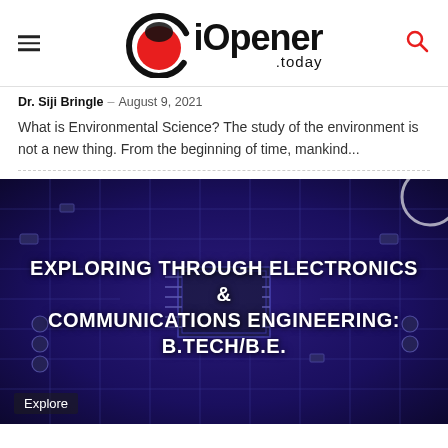iOpener.today
Dr. Siji Bringle – August 9, 2021
What is Environmental Science? The study of the environment is not a new thing. From the beginning of time, mankind...
[Figure (photo): Circuit board close-up image in blue and purple tones with overlaid text: EXPLORING THROUGH ELECTRONICS & COMMUNICATIONS ENGINEERING: B.TECH/B.E. with an 'Explore' tag at bottom left.]